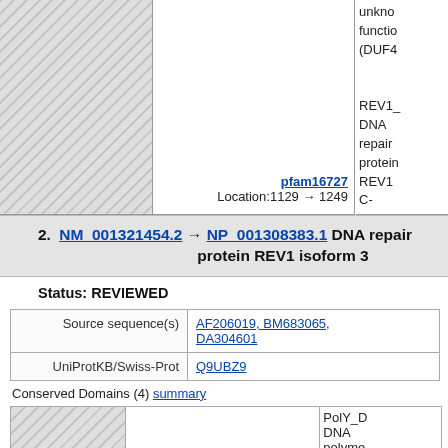unknown function (DUF4)
pfam16727
Location:1129 → 1249
REV1_ DNA repair protein REV1 C-terminal domain
2. NM_001321454.2 → NP_001308383.1 DNA repair protein REV1 isoform 3
Status: REVIEWED
|  |  |
| --- | --- |
| Source sequence(s) | AF206019, BM683065, DA304601 |
| UniProtKB/Swiss-Prot | Q9UBZ9 |
Conserved Domains (4) summary
cd01701
Location:348 → 860
PolY_D DNA polymerase Rev1
smart00292
Location:46 → 118
BRCT; breast cancer